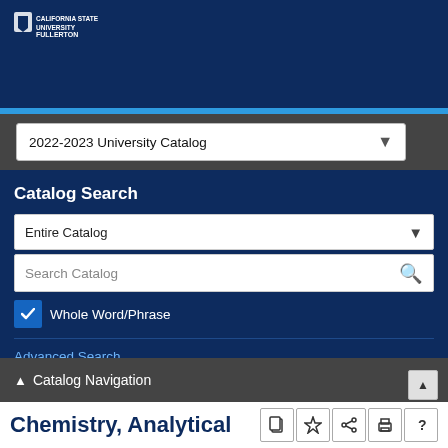[Figure (logo): California State University Fullerton logo/shield in white on dark blue header]
2022-2023 University Catalog
Catalog Search
Entire Catalog
Search Catalog
Whole Word/Phrase
Advanced Search
Catalog Navigation
Chemistry, Analytical